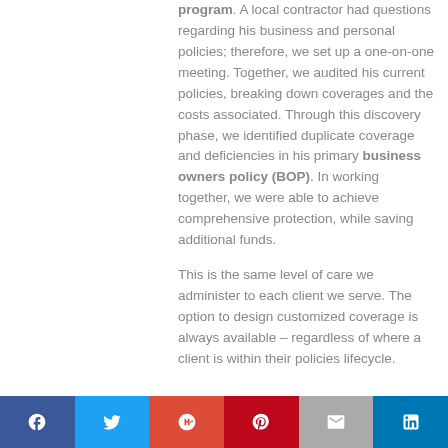program. A local contractor had questions regarding his business and personal policies; therefore, we set up a one-on-one meeting. Together, we audited his current policies, breaking down coverages and the costs associated. Through this discovery phase, we identified duplicate coverage and deficiencies in his primary business owners policy (BOP). In working together, we were able to achieve comprehensive protection, while saving additional funds.

This is the same level of care we administer to each client we serve. The option to design customized coverage is always available – regardless of where a client is within their policies lifecycle.
Social share bar: Facebook, Twitter, Google+, Pinterest, Email, LinkedIn